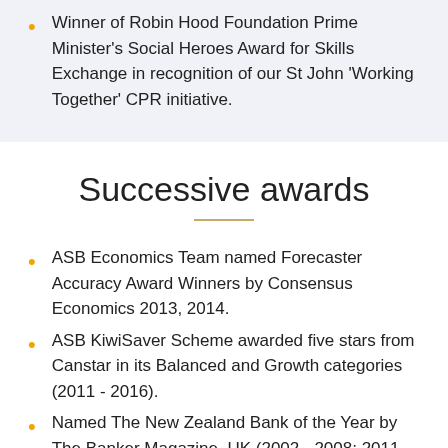Winner of Robin Hood Foundation Prime Minister's Social Heroes Award for Skills Exchange in recognition of our St John 'Working Together' CPR initiative.
Successive awards
ASB Economics Team named Forecaster Accuracy Award Winners by Consensus Economics 2013, 2014.
ASB KiwiSaver Scheme awarded five stars from Canstar in its Balanced and Growth categories (2011 - 2016).
Named The New Zealand Bank of the Year by The Banker Magazine, UK (2002 - 2008; 2011, 2013 - 2015).
Received Canstar Best Online Bank Award 2012, 2013.
Back to back Webby Awards (2011, 2012), named as an